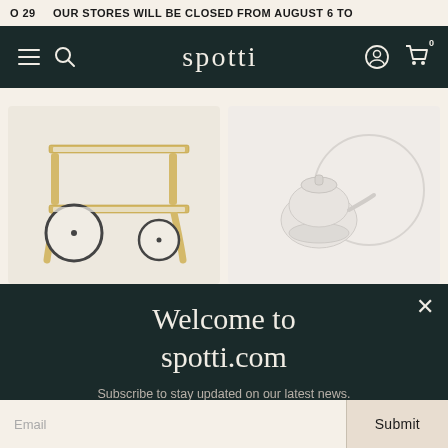O 29  OUR STORES WILL BE CLOSED FROM AUGUST 6 TO
[Figure (screenshot): Navigation bar with hamburger menu, search icon, Spotti logo, user icon and cart icon (badge: 0) on dark teal background]
[Figure (photo): Two product photos side by side on cream background: left shows a wooden tea trolley with circular shelf and wheels (Aalto style), right shows a white ceramic teapot with a large white plate/circle behind it]
Welcome to
spotti.com
Subscribe to stay updated on our latest news.
Email
Submit